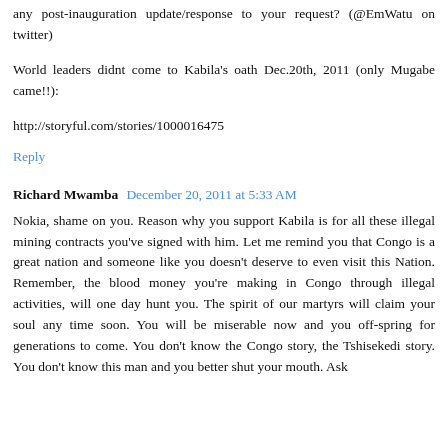any post-inauguration update/response to your request? (@EmWatu on twitter)
World leaders didnt come to Kabila's oath Dec.20th, 2011 (only Mugabe came!!):
http://storyful.com/stories/1000016475
Reply
Richard Mwamba  December 20, 2011 at 5:33 AM
Nokia, shame on you. Reason why you support Kabila is for all these illegal mining contracts you've signed with him. Let me remind you that Congo is a great nation and someone like you doesn't deserve to even visit this Nation. Remember, the blood money you're making in Congo through illegal activities, will one day hunt you. The spirit of our martyrs will claim your soul any time soon. You will be miserable now and you off-spring for generations to come. You don't know the Congo story, the Tshisekedi story. You don't know this man and you better shut your mouth. Ask